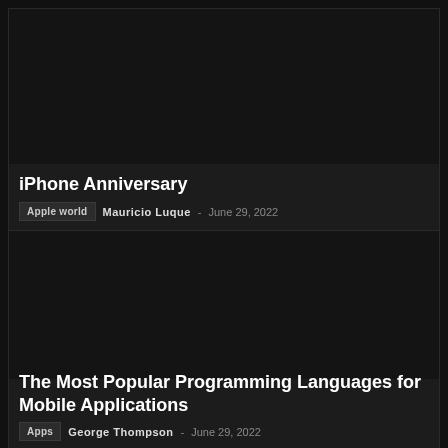[Figure (photo): Dark background article card image area for iPhone Anniversary article]
iPhone Anniversary
Apple world  Mauricio Luque  -  June 29, 2022
[Figure (photo): Dark background article card image area for The Most Popular Programming Languages for Mobile Applications article]
The Most Popular Programming Languages for Mobile Applications
Apps  George Thompson  -  June 29, 2022